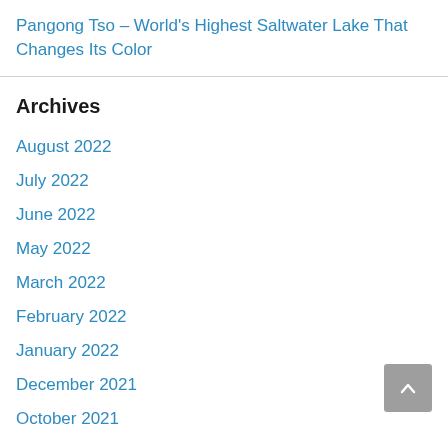Pangong Tso – World's Highest Saltwater Lake That Changes Its Color
Archives
August 2022
July 2022
June 2022
May 2022
March 2022
February 2022
January 2022
December 2021
October 2021